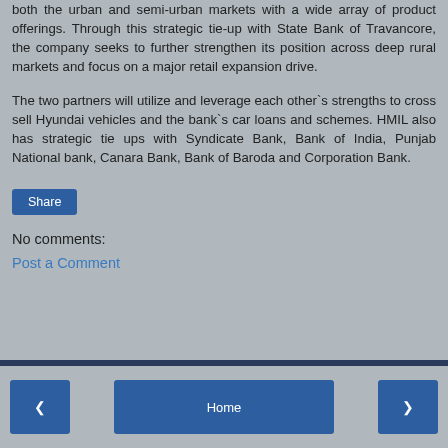both the urban and semi-urban markets with a wide array of product offerings. Through this strategic tie-up with State Bank of Travancore, the company seeks to further strengthen its position across deep rural markets and focus on a major retail expansion drive.
The two partners will utilize and leverage each other`s strengths to cross sell Hyundai vehicles and the bank`s car loans and schemes. HMIL also has strategic tie ups with Syndicate Bank, Bank of India, Punjab National bank, Canara Bank, Bank of Baroda and Corporation Bank.
Share
No comments:
Post a Comment
◀  Home  ▶